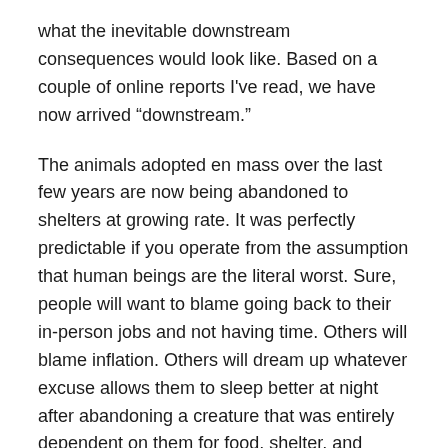what the inevitable downstream consequences would look like. Based on a couple of online reports I've read, we have now arrived “downstream.”
The animals adopted en mass over the last few years are now being abandoned to shelters at growing rate. It was perfectly predictable if you operate from the assumption that human beings are the literal worst. Sure, people will want to blame going back to their in-person jobs and not having time. Others will blame inflation. Others will dream up whatever excuse allows them to sleep better at night after abandoning a creature that was entirely dependent on them for food, shelter, and protection.
Look, no one knows better than I do that situations change. Eleven years ago, I was hurtling towards Maryland one day ahead of my belongings with two dogs